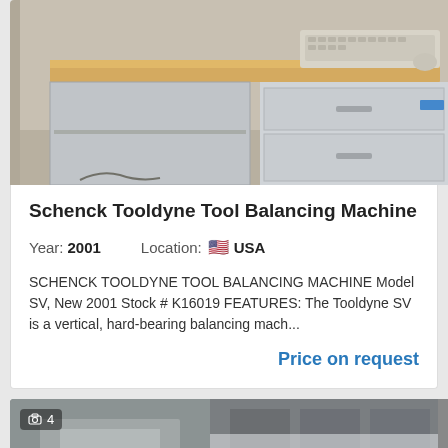[Figure (photo): Photo of a Schenck Tooldyne Tool Balancing Machine workstation with a wooden desktop, keyboard, mouse, and grey metal cabinet drawers]
Schenck Tooldyne Tool Balancing Machine
Year: 2001    Location: 🇺🇸 USA
SCHENCK TOOLDYNE TOOL BALANCING MACHINE Model SV, New 2001 Stock # K16019 FEATURES: The Tooldyne SV is a vertical, hard-bearing balancing mach...
Price on request
[Figure (photo): Blurred photo of industrial machine equipment, second listing card with photo count badge showing 4 photos]